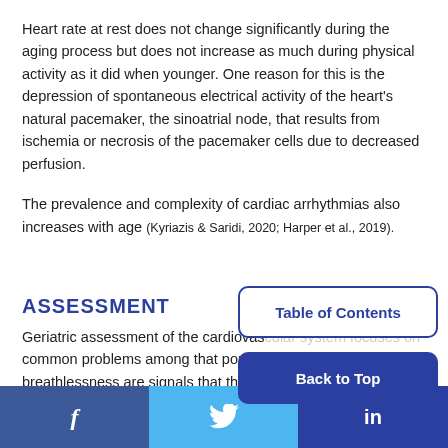Heart rate at rest does not change significantly during the aging process but does not increase as much during physical activity as it did when younger. One reason for this is the depression of spontaneous electrical activity of the heart's natural pacemaker, the sinoatrial node, that results from ischemia or necrosis of the pacemaker cells due to decreased perfusion.
The prevalence and complexity of cardiac arrhythmias also increases with age (Kyriazis & Saridi, 2020; Harper et al., 2019).
ASSESSMENT
Geriatric assessment of the cardiovascular system focuses on common problems among that population. Breathlessness are signals that the heart is n…
Table of Contents
Back to Top
f  [Twitter icon]  in